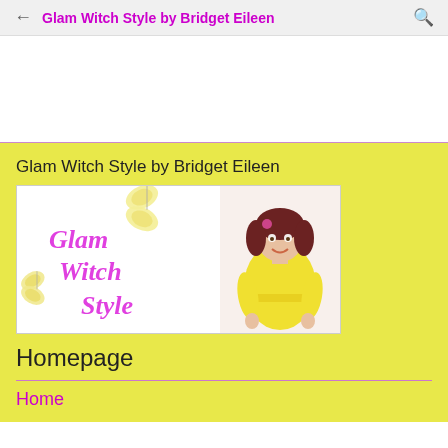Glam Witch Style by Bridget Eileen
Glam Witch Style by Bridget Eileen
[Figure (logo): Glam Witch Style logo with pink script text and yellow butterflies on white background, with photo of woman in yellow dress on the right side]
Homepage
Home